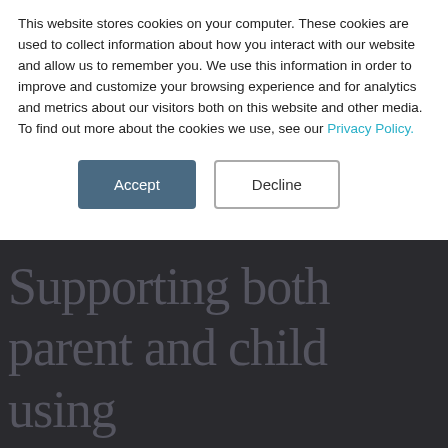This website stores cookies on your computer. These cookies are used to collect information about how you interact with our website and allow us to remember you. We use this information in order to improve and customize your browsing experience and for analytics and metrics about our visitors both on this website and other media. To find out more about the cookies we use, see our Privacy Policy.
Accept | Decline
Supporting both parent and child using the Healing Together programme